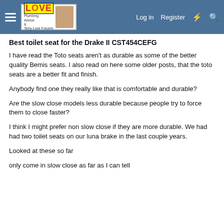Terry Love Forums — Log in | Register
Best toilet seat for the Drake II CST454CEFG
I have read the Toto seats aren't as durable as some of the better quality Bemis seats. I also read on here some older posts, that the toto seats are a better fit and finish.
Anybody find one they really like that is comfortable and durable?
Are the slow close models less durable because people try to force them to close faster?
I think I might prefer non slow close if they are more durable. We had had two toilet seats on our luna brake in the last couple years.
Looked at these so far
only come in slow close as far as I can tell